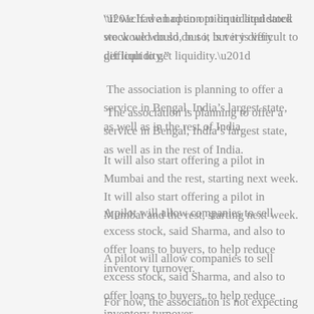“If we had an option to liquidated stock we would do so, but it is very difficult to get liquidity.”
The association is planning to offer a service in Bengal, India’s largest state, as well as in the rest of India.
It will also start offering a pilot in Mumbai and the rest, starting next week.
A pilot will allow companies to sell excess stock, said Sharma, and also to offer loans to buyers, to help reduce inventory turnover.
For now, the association is not expecting any shortage of freight.
It said it expects to take a 25 percent stake in the